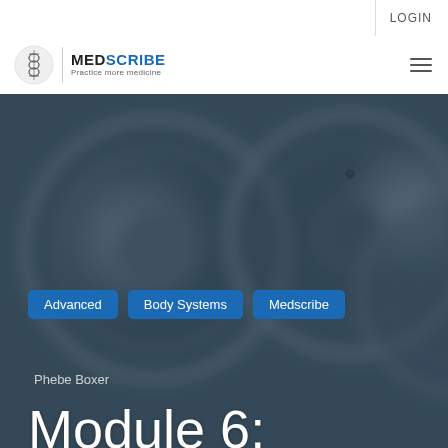LOGIN
[Figure (logo): MedScribe logo with circular emblem and text 'MEDSCRIBE Practice more medicine']
[Figure (photo): Blurred close-up photo of medical/industrial gauges with dark blue-grey overlay]
Advanced
Body Systems
Medscribe
Phebe Boxer
Module 6: Cardiovascular